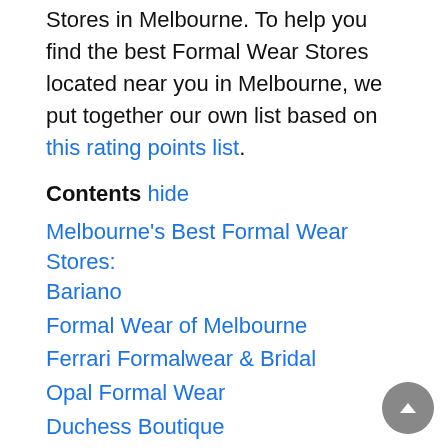Below is a list of the top and leading Formal Wear Stores in Melbourne. To help you find the best Formal Wear Stores located near you in Melbourne, we put together our own list based on this rating points list.
Contents hide
Melbourne's Best Formal Wear Stores: Bariano
Formal Wear of Melbourne
Ferrari Formalwear & Bridal
Opal Formal Wear
Duchess Boutique
Melbourne's Best Formal Wear Stores: